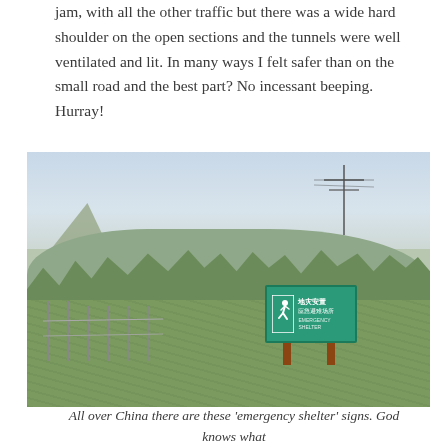jam, with all the other traffic but there was a wide hard shoulder on the open sections and the tunnels were well ventilated and lit. In many ways I felt safer than on the small road and the best part? No incessant beeping. Hurray!
[Figure (photo): A rural scene in China with green hillside, dense vegetation, a valley with mountains in background, power lines on poles, and a green emergency shelter sign with a running figure pictogram and Chinese text, mounted on two brown wooden posts in a green field.]
All over China there are these 'emergency shelter' signs. God knows what